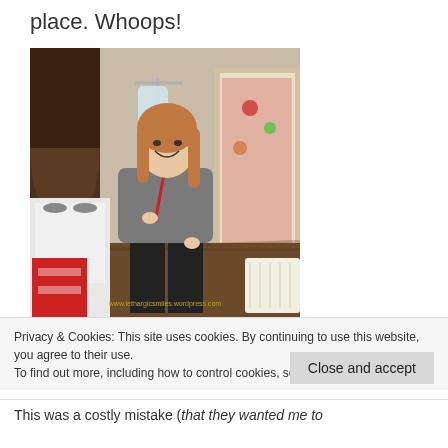place. Whoops!
[Figure (photo): A smiling woman with long reddish-brown hair standing indoors, holding an IV pole with a fluid bag. She is wearing a grey hoodie and black pants. In the background is a white stove with a red dish towel, wooden cabinets, and an open door. A watermark reads www.lethargicsmiles.wordpress.com]
Privacy & Cookies: This site uses cookies. By continuing to use this website, you agree to their use.
To find out more, including how to control cookies, see here: Cookie Policy
Close and accept
This was a costly mistake (that they wanted me to